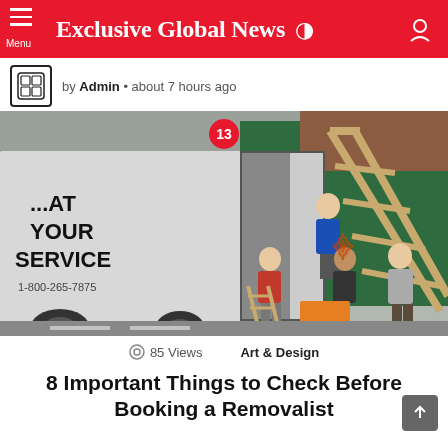Exclusive Global News
by Admin • about 7 hours ago
[Figure (photo): Movers unloading a large wooden frame from a white moving truck labeled '...AT YOUR SERVICE 1-800-265-7875' on a city street, with graffiti on a green wall in the background. A red badge with '13' floats above the image.]
85 Views
Art & Design
8 Important Things to Check Before Booking a Removalist